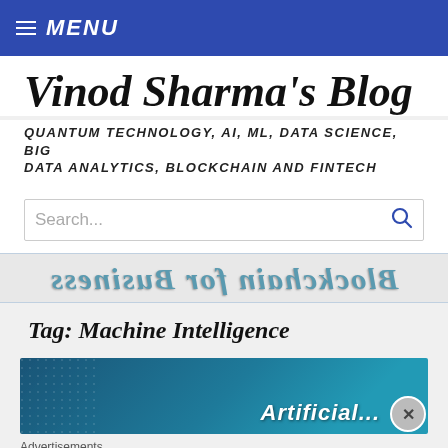MENU
Vinod Sharma's Blog
QUANTUM TECHNOLOGY, AI, ML, DATA SCIENCE, BIG DATA ANALYTICS, BLOCKCHAIN AND FINTECH
[Figure (screenshot): Search bar with magnifying glass icon]
[Figure (screenshot): Mirrored/reversed text banner reading 'Blockchain for Business']
Tag: Machine Intelligence
[Figure (screenshot): Article banner with teal/blue background and text 'Artificial...' partially visible with close (X) button]
Advertisements
[Figure (screenshot): DuckDuckGo advertisement banner: 'Search, browse, and email with more privacy. All in One Free App' with DuckDuckGo logo]